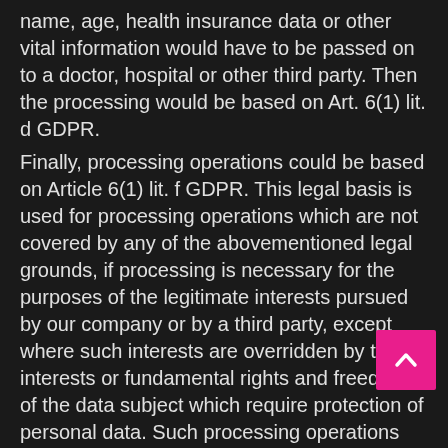name, age, health insurance data or other vital information would have to be passed on to a doctor, hospital or other third party. Then the processing would be based on Art. 6(1) lit. d GDPR.
Finally, processing operations could be based on Article 6(1) lit. f GDPR. This legal basis is used for processing operations which are not covered by any of the abovementioned legal grounds, if processing is necessary for the purposes of the legitimate interests pursued by our company or by a third party, except where such interests are overridden by the interests or fundamental rights and freedoms of the data subject which require protection of personal data. Such processing operations are particularly permissible because they have been specifically mentioned by the European legislator. He considered that a legitimate interest could be assumed if the data subject is a client of the controller (Recital 47 Sentence 2 GDPR).
65. The legitimate interests pursued by the controller or